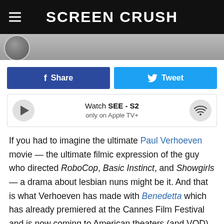SCREEN CRUSH
[Figure (screenshot): Partial image strip with avatar circle]
f Share   Tweet
Watch SEE - S2 only on Apple TV+
If you had to imagine the ultimate Paul Verhoeven movie — the ultimate filmic expression of the guy who directed RoboCop, Basic Instinct, and Showgirls — a drama about lesbian nuns might be it. And that is what Verhoeven has made with Benedetta which has already premiered at the Cannes Film Festival and is now coming to American theaters (and VOD) this fall.
The movie is based on reveal events (or at least loosely inspired by them, this is Paul Verhoeven here, there's going to